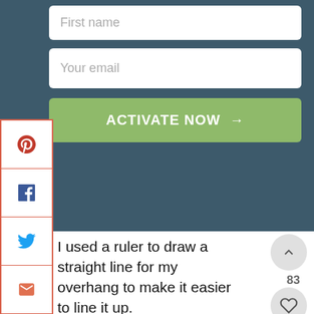First name
Your email
ACTIVATE NOW →
[Figure (screenshot): Social share sidebar with Pinterest, Facebook, Twitter, email, and print icons, outlined in orange/red border]
I used a ruler to draw a straight line for my overhang to make it easier to line it up.